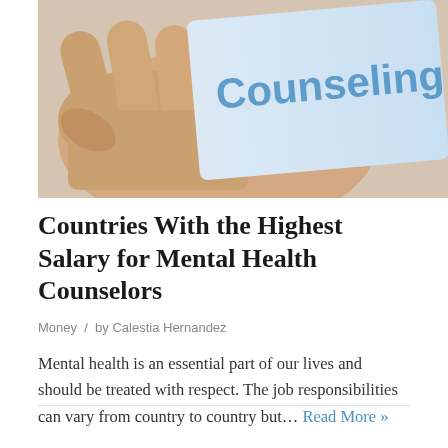[Figure (photo): A hand holding a card or sign with the word 'Counseling' written in blue text on a light blue background.]
Countries With the Highest Salary for Mental Health Counselors
Money / by Calestia Hernandez
Mental health is an essential part of our lives and should be treated with respect. The job responsibilities can vary from country to country but… Read More »